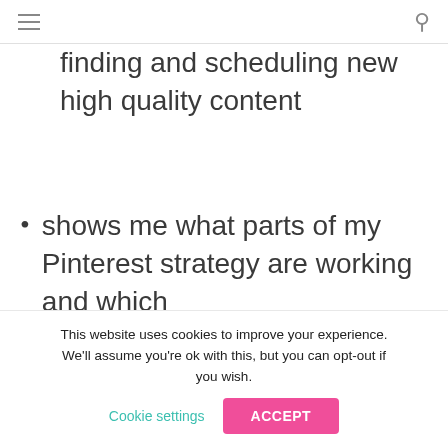[menu icon] [search icon]
finding and scheduling new high quality content
shows me what parts of my Pinterest strategy are working and which
This website uses cookies to improve your experience. We'll assume you're ok with this, but you can opt-out if you wish. Cookie settings ACCEPT